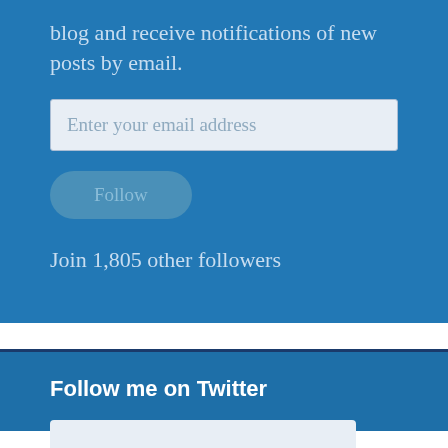blog and receive notifications of new posts by email.
Enter your email address
Follow
Join 1,805 other followers
Follow me on Twitter